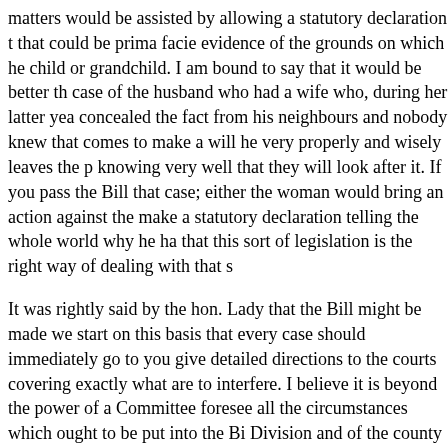matters would be assisted by allowing a statutory declaration t that could be prima facie evidence of the grounds on which he child or grandchild. I am bound to say that it would be better th case of the husband who had a wife who, during her latter yea concealed the fact from his neighbours and nobody knew that comes to make a will he very properly and wisely leaves the p knowing very well that they will look after it. If you pass the Bill that case; either the woman would bring an action against the make a statutory declaration telling the whole world why he ha that this sort of legislation is the right way of dealing with that s
It was rightly said by the hon. Lady that the Bill might be made we start on this basis that every case should immediately go to you give detailed directions to the courts covering exactly what are to interfere. I believe it is beyond the power of a Committee foresee all the circumstances which ought to be put into the Bi Division and of the county courts the right to go into every mor forward? That would include the applicant's own circumstances which might or might not be known to the residuary legatees, a had been left out. It may or may not be true. You would also ha